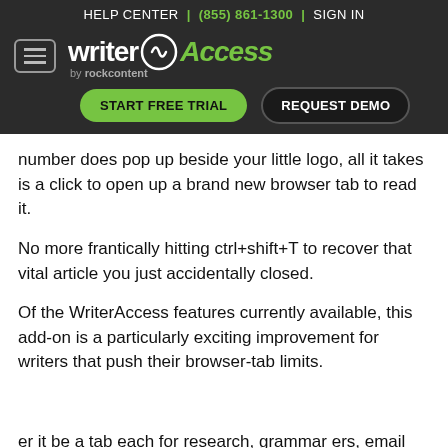HELP CENTER | (855) 861-1300 | SIGN IN
[Figure (logo): WriterAccess by rockcontent logo with menu icon, START FREE TRIAL and REQUEST DEMO buttons on dark background]
number does pop up beside your little logo, all it takes is a click to open up a brand new browser tab to read it.
No more frantically hitting ctrl+shift+T to recover that vital article you just accidentally closed.
Of the WriterAccess features currently available, this add-on is a particularly exciting improvement for writers that push their browser-tab limits.
er it be a tab each for research, grammar ers, email inbox(es), social media accounts, and maybe (no judgement here) a game or two to “reset”